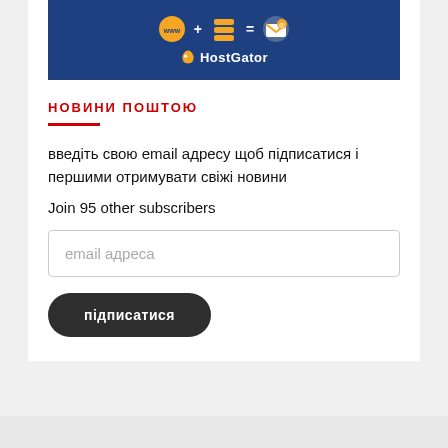[Figure (illustration): HostGator banner advertisement showing www + server icons = email icon with HostGator branding on dark blue background]
НОВИНИ ПОШТОЮ
введіть свою email адресу щоб підписатися і першими отримувати свіжі новини
Join 95 other subscribers
email адреса
підписатися